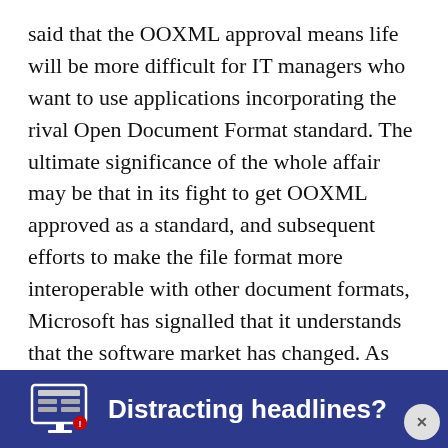said that the OOXML approval means life will be more difficult for IT managers who want to use applications incorporating the rival Open Document Format standard. The ultimate significance of the whole affair may be that in its fight to get OOXML approved as a standard, and subsequent efforts to make the file format more interoperable with other document formats, Microsoft has signalled that it understands that the software market has changed. As Web and open source applications become increasingly important, even proprietary software giants need to make sure their APIs and file formats are transparent and connect to the wider world of software.
[Figure (infographic): Advertisement banner with dark blue background, a small icon showing a news/table layout on the left, and bold white text reading 'Distracting headlines?' with a close (x) button on the bottom right.]